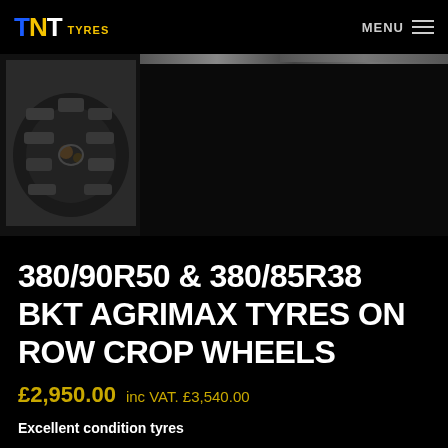TNT TYRES  MENU
[Figure (photo): Close-up photo of a used agricultural tyre tread on a row crop wheel, dark background, gallery strip with multiple thumbnails]
380/90R50 & 380/85R38 BKT AGRIMAX TYRES ON ROW CROP WHEELS
£2,950.00   inc VAT. £3,540.00
Excellent condition tyres